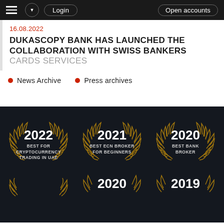Login | Open accounts
16.08.2022
DUKASCOPY BANK HAS LAUNCHED THE COLLABORATION WITH SWISS BANKERS CARDS SERVICES
News Archive
Press archives
[Figure (infographic): Three award badges on dark background: 2022 Best for Cryptocurrency Trading in UAE, 2021 Best ECN Broker for Beginners, 2020 Best Bank Broker. Partial row of more badges at bottom.]